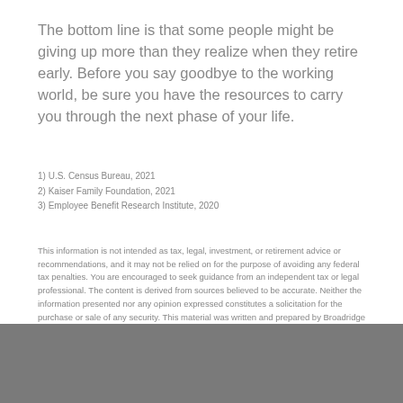The bottom line is that some people might be giving up more than they realize when they retire early. Before you say goodbye to the working world, be sure you have the resources to carry you through the next phase of your life.
1) U.S. Census Bureau, 2021
2) Kaiser Family Foundation, 2021
3) Employee Benefit Research Institute, 2020
This information is not intended as tax, legal, investment, or retirement advice or recommendations, and it may not be relied on for the purpose of avoiding any federal tax penalties. You are encouraged to seek guidance from an independent tax or legal professional. The content is derived from sources believed to be accurate. Neither the information presented nor any opinion expressed constitutes a solicitation for the purchase or sale of any security. This material was written and prepared by Broadridge Advisor Solutions. © 2021 Broadridge Financial Solutions, Inc.